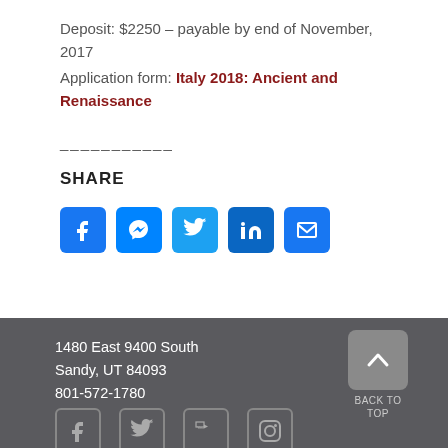Deposit: $2250 – payable by end of November, 2017
Application form: Italy 2018: Ancient and Renaissance
——————
SHARE
[Figure (infographic): Social share buttons: Facebook, Messenger, Twitter, LinkedIn, Email]
1480 East 9400 South
Sandy, UT 84093
801-572-1780
[Figure (infographic): Back to Top button with up arrow]
[Figure (infographic): Footer social media icons: Facebook, Twitter, YouTube, Instagram]